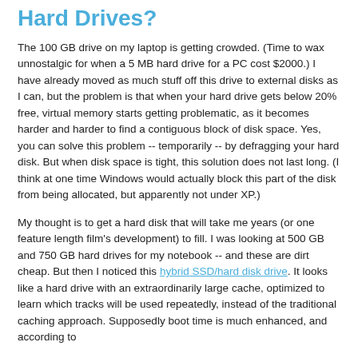Hard Drives?
The 100 GB drive on my laptop is getting crowded.  (Time to wax unnostalgic for when a 5 MB hard drive for a PC cost $2000.)  I have already moved as much stuff off this drive to external disks as I can, but the problem is that when your hard drive gets below 20% free, virtual memory starts getting problematic, as it becomes harder and harder to find a contiguous block of disk space.  Yes, you can solve this problem -- temporarily -- by defragging your hard disk.  But when disk space is tight, this solution does not last long.  (I think at one time Windows would actually block this part of the disk from being allocated, but apparently not under XP.)
My thought is to get a hard disk that will take me years (or one feature length film's development) to fill.  I was looking at 500 GB and 750 GB hard drives for my notebook -- and these are dirt cheap.  But then I noticed this hybrid SSD/hard disk drive.  It looks like a hard drive with an extraordinarily large cache,  optimized to learn which tracks will be used repeatedly, instead of the traditional caching approach.  Supposedly boot time is much enhanced, and according to